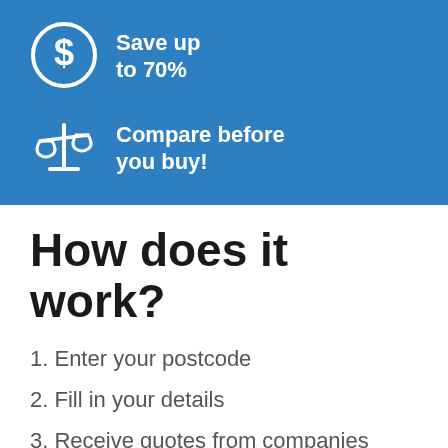[Figure (infographic): Dollar sign icon in a circle on blue background]
Save up to 70%
[Figure (infographic): Balance/scales icon on blue background]
Compare before you buy!
How does it work?
1. Enter your postcode
2. Fill in your details
3. Receive quotes from companies